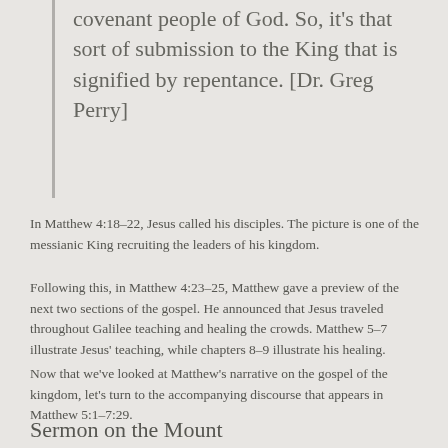covenant people of God. So, it's that sort of submission to the King that is signified by repentance. [Dr. Greg Perry]
In Matthew 4:18–22, Jesus called his disciples. The picture is one of the messianic King recruiting the leaders of his kingdom.
Following this, in Matthew 4:23–25, Matthew gave a preview of the next two sections of the gospel. He announced that Jesus traveled throughout Galilee teaching and healing the crowds. Matthew 5–7 illustrate Jesus' teaching, while chapters 8–9 illustrate his healing.
Now that we've looked at Matthew's narrative on the gospel of the kingdom, let's turn to the accompanying discourse that appears in Matthew 5:1–7:29.
Sermon on the Mount